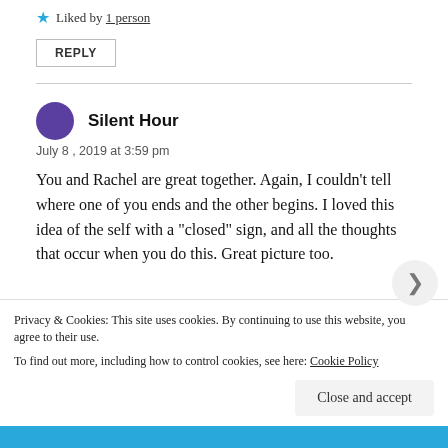can't thank you enough!!!
★ Liked by 1 person
REPLY
Silent Hour
July 8, 2019 at 3:59 pm
You and Rachel are great together. Again, I couldn't tell where one of you ends and the other begins. I loved this idea of the self with a "closed" sign, and all the thoughts that occur when you do this. Great picture too.
Privacy & Cookies: This site uses cookies. By continuing to use this website, you agree to their use. To find out more, including how to control cookies, see here: Cookie Policy
Close and accept